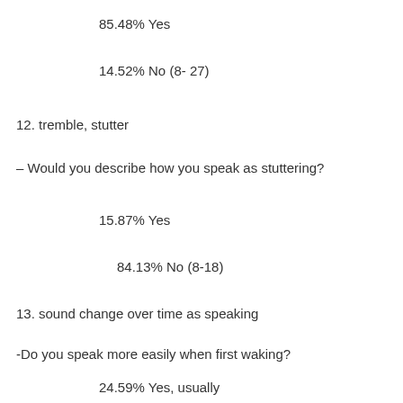85.48% Yes
14.52% No (8- 27)
12. tremble, stutter
– Would you describe how you speak as stuttering?
15.87% Yes
84.13% No (8-18)
13. sound change over time as speaking
-Do you speak more easily when first waking?
24.59% Yes, usually